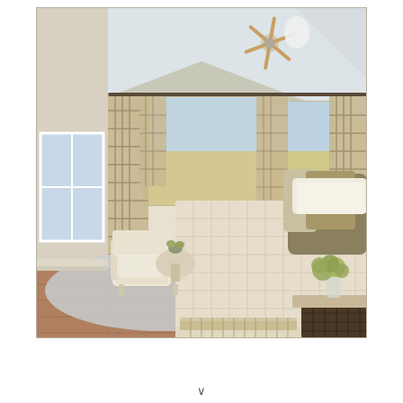[Figure (photo): Interior photo of a coastal-style master bedroom with vaulted ceiling, ceiling fan, large bay windows with plaid curtains, a king-size bed with cream/beige bedding and decorative pillows, white upholstered armchairs, a wicker bench at the foot of the bed, hardwood floors with a light blue-gray area rug, a nightstand with green hydrangea flowers in a glass vase, and ocean/beach views through the windows. The room has a neutral, beige and cream color palette with natural textures.]
v